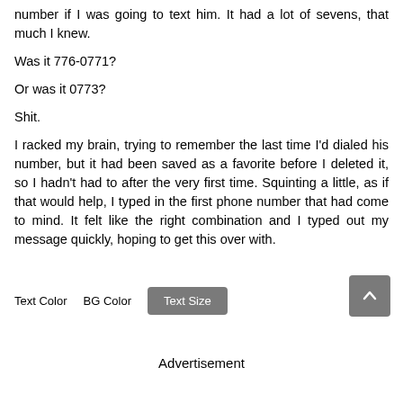number if I was going to text him. It had a lot of sevens, that much I knew.
Was it 776-0771?
Or was it 0773?
Shit.
I racked my brain, trying to remember the last time I'd dialed his number, but it had been saved as a favorite before I deleted it, so I hadn't had to after the very first time. Squinting a little, as if that would help, I typed in the first phone number that had come to mind. It felt like the right combination and I typed out my message quickly, hoping to get this over with.
Text Color   BG Color   Text Size
Advertisement